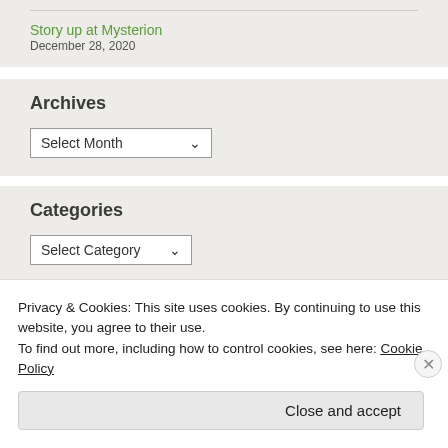Story up at Mysterion
December 28, 2020
Archives
Select Month
Categories
Select Category
Privacy & Cookies: This site uses cookies. By continuing to use this website, you agree to their use.
To find out more, including how to control cookies, see here: Cookie Policy
Close and accept